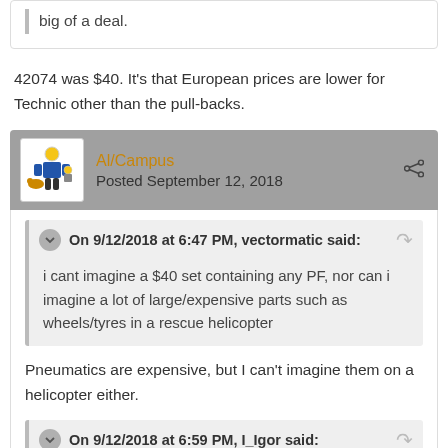big of a deal.
42074 was $40. It's that European prices are lower for Technic other than the pull-backs.
Al/Campus
Posted September 12, 2018
On 9/12/2018 at 6:47 PM, vectormatic said:
i cant imagine a $40 set containing any PF, nor can i imagine a lot of large/expensive parts such as wheels/tyres in a rescue helicopter
Pneumatics are expensive, but I can't imagine them on a helicopter either.
On 9/12/2018 at 6:59 PM, I_Igor said:
Smaller Xerion tires would be welcome and could fit in